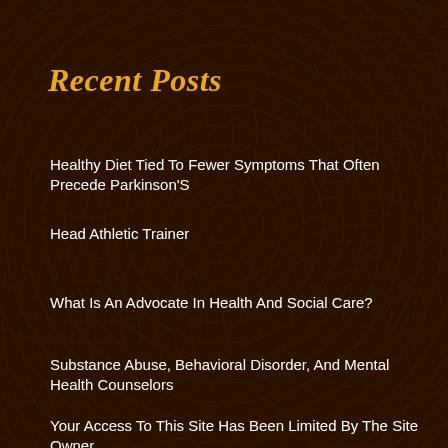Recent Posts
Healthy Diet Tied To Fewer Symptoms That Often Precede Parkinson'S
Head Athletic Trainer
What Is An Advocate In Health And Social Care?
Substance Abuse, Behavioral Disorder, And Mental Health Counselors
Your Access To This Site Has Been Limited By The Site Owner